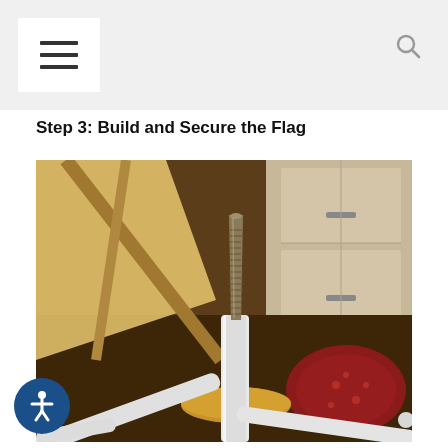Step 3: Build and Secure the Flag
[Figure (photo): Close-up photograph of a threaded metal rod/bolt tip inserted into a white PVC pipe base on a wooden board, with other white pipes scattered around, a red patterned rug and kitchen cabinets visible in the background.]